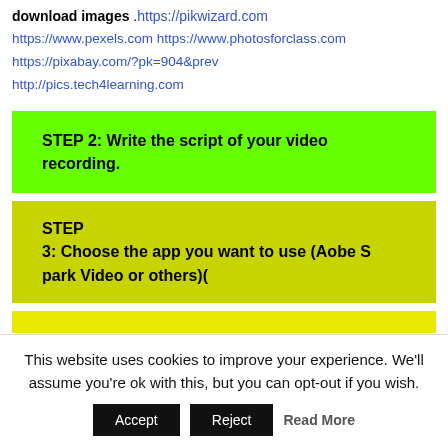download images . https://pikwizard.com https://www.pexels.com https://www.photosforclass.com https://pixabay.com/?pk=904&prev http://pics.tech4learning.com
STEP 2: Write the script of your video recording.
STEP 3: Choose the app you want to use (Aobe Spark Video or others)(
This website uses cookies to improve your experience. We'll assume you're ok with this, but you can opt-out if you wish.